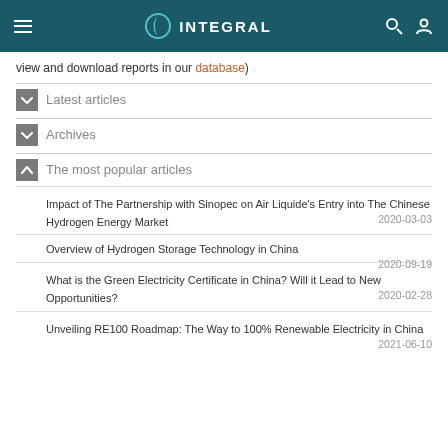INTEGRAL
view and download reports in our database)
Latest articles
Archives
The most popular articles
Impact of The Partnership with Sinopec on Air Liquide's Entry into The Chinese Hydrogen Energy Market 2020-03-03
Overview of Hydrogen Storage Technology in China 2020-09-19
What is the Green Electricity Certificate in China? Will it Lead to New Opportunities? 2020-02-28
Unveiling RE100 Roadmap: The Way to 100% Renewable Electricity in China 2021-06-10